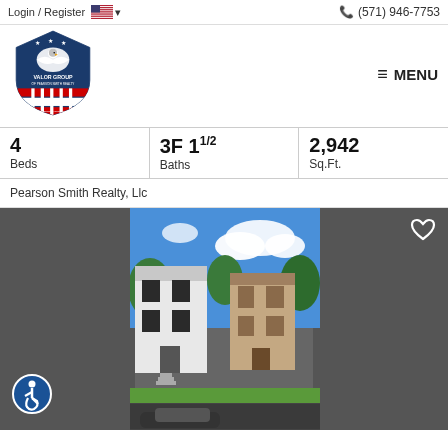Login / Register   🇺🇸 ▾         📞 (571) 946-7753
[Figure (logo): Valor Group of Pearson Smith Realty shield logo with eagle]
≡ MENU
| Beds | Baths | Sq.Ft. |
| --- | --- | --- |
| 4 | 3F 1 1/2 | 2,942 |
Pearson Smith Realty, Llc
[Figure (photo): Exterior photo of townhouses/row houses with white siding and dark shutters, blue sky with clouds, green landscaping and stairs leading to entrance, cars in foreground]